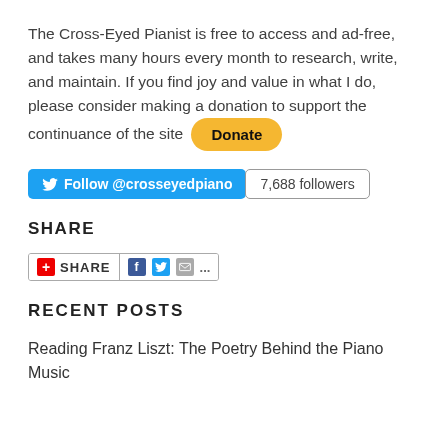The Cross-Eyed Pianist is free to access and ad-free, and takes many hours every month to research, write, and maintain. If you find joy and value in what I do, please consider making a donation to support the continuance of the site [Donate]
[Figure (other): Twitter Follow button for @crosseyedpiano with 7,688 followers pill]
SHARE
[Figure (other): Share widget with red plus icon, SHARE label, Facebook, Twitter, Email and more icons]
RECENT POSTS
Reading Franz Liszt: The Poetry Behind the Piano Music